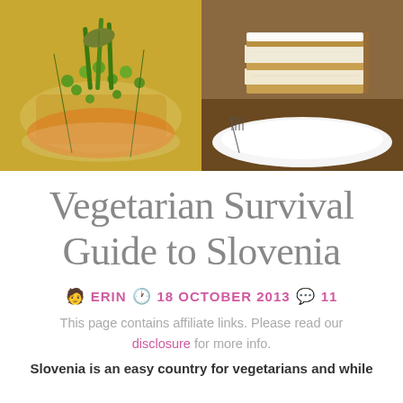[Figure (photo): Two food photos side by side: left shows a vegetarian pasta dish with green peas and sage on an orange sauce; right shows a cream/custard layered cake slice on a white plate with a fork]
Vegetarian Survival Guide to Slovenia
ERIN  18 OCTOBER 2013  11
This page contains affiliate links. Please read our disclosure for more info.
Slovenia is an easy country for vegetarians and while